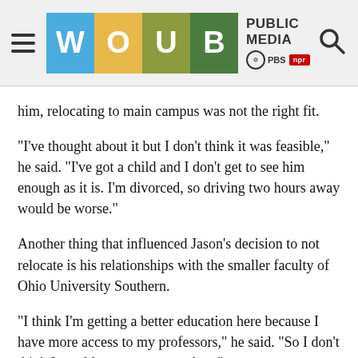WOUB PUBLIC MEDIA PBS NPR
him, relocating to main campus was not the right fit.
"I've thought about it but I don't think it was feasible," he said. "I've got a child and I don't get to see him enough as it is. I'm divorced, so driving two hours away would be worse."
Another thing that influenced Jason's decision to not relocate is his relationships with the smaller faculty of Ohio University Southern.
“I think I'm getting a better education here because I have more access to my professors,” he said. “So I don’t think I would pay more to get less.”
Some students would disagree and say that there's not a